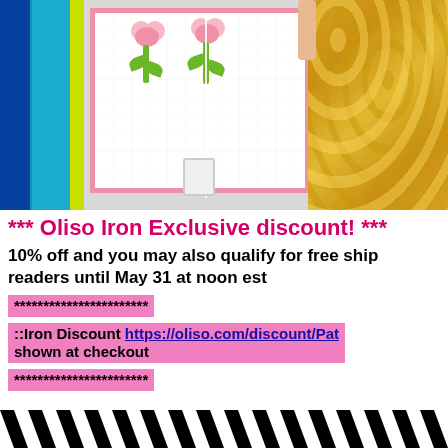[Figure (photo): Photo of a person in a yellow floral top holding a quilt with pink tulip/flower appliqués on white fabric with green stems and leaves, surrounded by fabric rolls in teal, lime, and blue on the left side.]
*** Oliso Iron Exclusive discount! ***
10% off and you may also qualify for free ship readers until May 31 at noon est
***********************
::Iron Discount https://oliso.com/discount/Pat shown at checkout
***********************